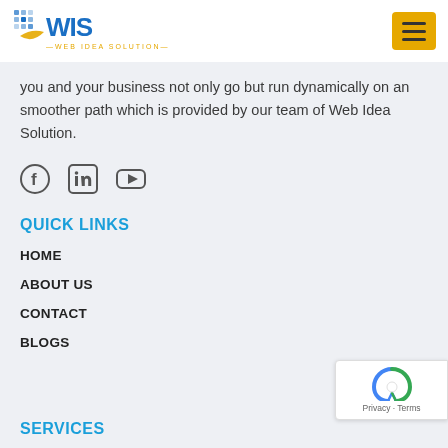WIS Web Idea Solution
you and your business not only go but run dynamically on an smoother path which is provided by our team of Web Idea Solution.
[Figure (illustration): Social media icons: Facebook, LinkedIn, YouTube]
QUICK LINKS
HOME
ABOUT US
CONTACT
BLOGS
SERVICES